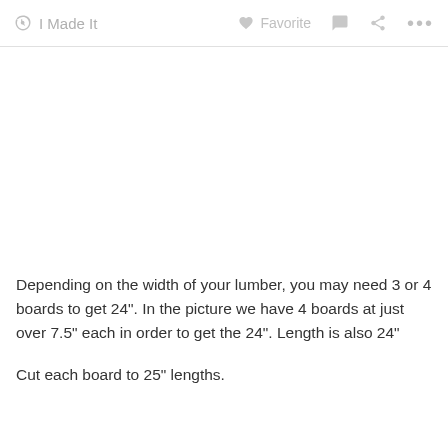✋ I Made It    ♡ Favorite  💬  ⋮⋮⋮
[Figure (photo): Blank/white image area placeholder]
Depending on the width of your lumber, you may need 3 or 4 boards to get 24". In the picture we have 4 boards at just over 7.5" each in order to get the 24". Length is also 24"
Cut each board to 25" lengths.